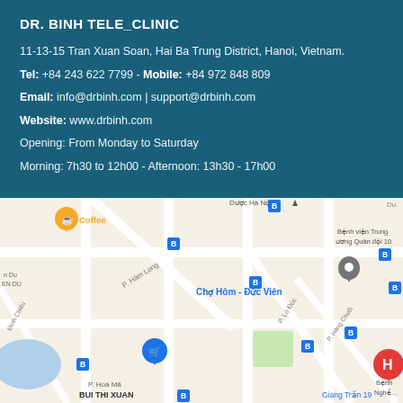DR. BINH TELE_CLINIC
11-13-15 Tran Xuan Soan, Hai Ba Trung District, Hanoi, Vietnam.
Tel: +84 243 622 7799 - Mobile: +84 972 848 809
Email: info@drbinh.com | support@drbinh.com
Website: www.drbinh.com
Opening: From Monday to Saturday
Morning: 7h30 to 12h00 - Afternoon: 13h30 - 17h00
[Figure (map): Google Maps view showing the clinic location in Hai Ba Trung District, Hanoi, Vietnam. Nearby landmarks include Cho Hom - Duc Vien market, Phan Chu Trinh street, P. Ham Long street, P. Lo Duc street, Benh vien Trung uong Quan doi 10 hospital, Bui Thi Xuan street, P. Hoa Ma street, and Giang Tran 19. Various transit icons and location pins visible.]